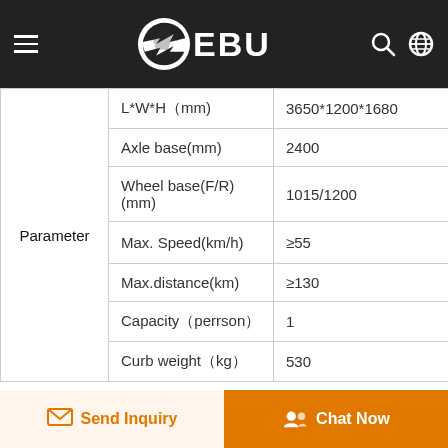EBU
| Parameter | Specification | Value |
| --- | --- | --- |
| Parameter | L*W*H（mm) | 3650*1200*1680 |
| Parameter | Axle base(mm) | 2400 |
| Parameter | Wheel base(F/R)(mm) | 1015/1200 |
| Parameter | Max. Speed(km/h) | ≥55 |
| Parameter | Max.distance(km) | ≥130 |
| Parameter | Capacity（perrson） | 1 |
| Parameter | Curb weight（kg） | 530 |